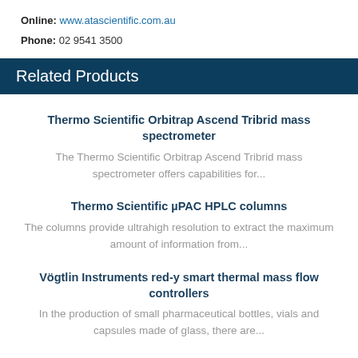Online: www.atascientific.com.au
Phone: 02 9541 3500
Related Products
Thermo Scientific Orbitrap Ascend Tribrid mass spectrometer
The Thermo Scientific Orbitrap Ascend Tribrid mass spectrometer offers capabilities for...
Thermo Scientific µPAC HPLC columns
The columns provide ultrahigh resolution to extract the maximum amount of information from...
Vögtlin Instruments red-y smart thermal mass flow controllers
In the production of small pharmaceutical bottles, vials and capsules made of glass, there are...